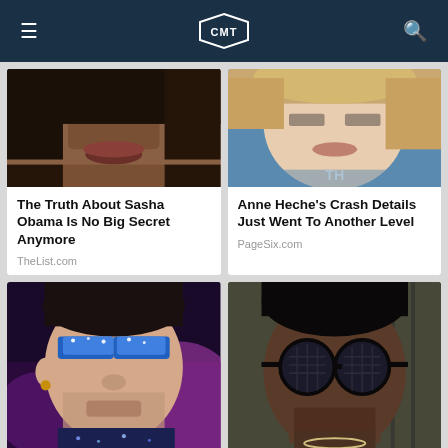CMT
[Figure (photo): Close-up photo of Sasha Obama's lower face]
The Truth About Sasha Obama Is No Big Secret Anymore
TheList.com
[Figure (photo): Close-up photo of Anne Heche's face with TH watermark]
Anne Heche's Crash Details Just Went To Another Level
PageSix.com
[Figure (photo): Close-up photo of man with glittery blue eye makeup]
[Figure (photo): Close-up photo of man with sunglasses and chain necklace]